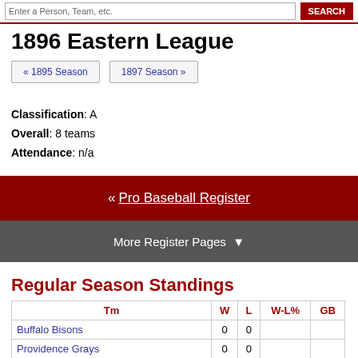Enter a Person, Team, etc. | SEARCH
1896 Eastern League
« 1895 Season   1897 Season »
Classification: A
Overall: 8 teams
Attendance: n/a
« Pro Baseball Register
More Register Pages ▼
Regular Season Standings
| Tm | W | L | W-L% | GB |
| --- | --- | --- | --- | --- |
| Buffalo Bisons | 0 | 0 |  |  |
| Providence Grays | 0 | 0 |  |  |
| Rochester Blackbirds (partial) | 0 | 0 |  |  |